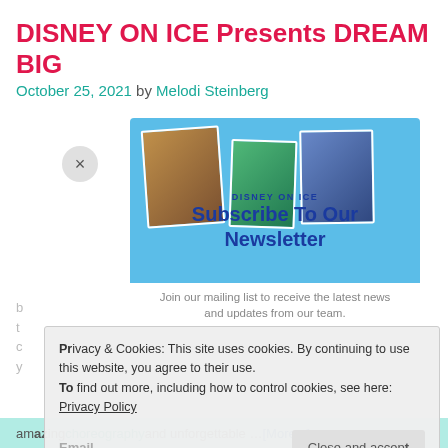DISNEY ON ICE Presents DREAM BIG
October 25, 2021 by Melodi Steinberg
[Figure (screenshot): Newsletter subscription popup overlaid on article page, showing Disney On Ice collage image with 'Subscribe To Our Newsletter' heading and mailing list description]
Privacy & Cookies: This site uses cookies. By continuing to use this website, you agree to their use. To find out more, including how to control cookies, see here: Privacy Policy
amazing choreography and unforgettable … [More...]